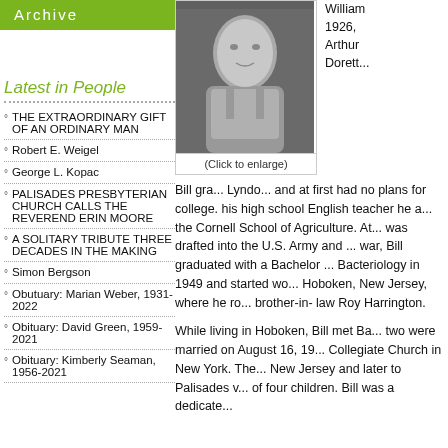Archive
Latest in People
THE EXTRAORDINARY GIFT OF AN ORDINARY MAN
Robert E. Weigel
George L. Kopac
PALISADES PRESBYTERIAN CHURCH CALLS THE REVEREND ERIN MOORE
A SOLITARY TRIBUTE THREE DECADES IN THE MAKING
Simon Bergson
Obutuary: Marian Weber, 1931-2022
Obituary: David Green, 1959-2021
Obituary: Kimberly Seaman, 1956-2021
[Figure (photo): Black and white portrait photo of an elderly man]
(Click to enlarge)
William ... 1926, ... Arthur ... Dorett ...
Bill gra... Lyndo... and at first had no plans for college. his high school English teacher he a... the Cornell School of Agriculture. At... was drafted into the U.S. Army and ... war, Bill graduated with a Bachelor ... Bacteriology in 1949 and started wo... Hoboken, New Jersey, where he ro... brother-in- law Roy Harrington.
While living in Hoboken, Bill met Ba... two were married on August 16, 19... Collegiate Church in New York. The... New Jersey and later to Palisades v... of four children. Bill was a dedicate...